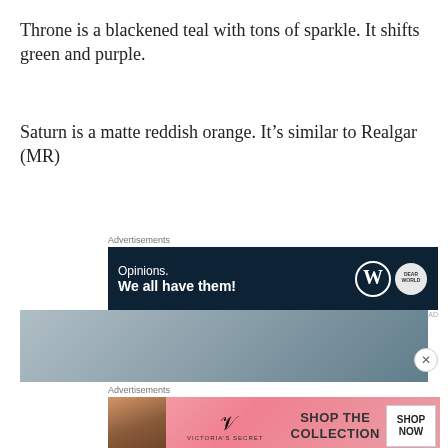Throne is a blackened teal with tons of sparkle. It shifts green and purple.
Saturn is a matte reddish orange. It’s similar to Realgar (MR)
[Figure (screenshot): Advertisement banner: dark navy background with text 'Opinions. We all have them!' and WordPress and Dear World logos]
[Figure (photo): Partial image of a person against a blurred grey/blue background]
[Figure (screenshot): Victoria's Secret advertisement: 'SHOP THE COLLECTION' with SHOP NOW button]